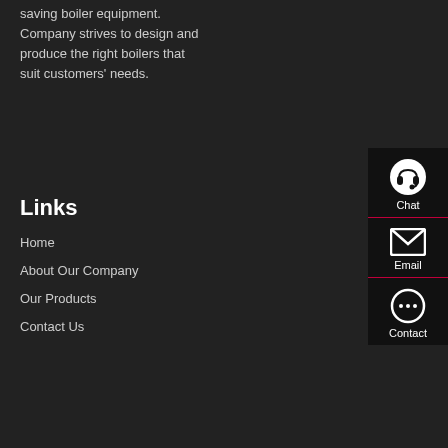saving boiler equipment. Company strives to design and produce the right boilers that suit customers' needs.
Henan China
Phone :
Phone : 0086-371-60922096
Email : sales@talenets.com
[Figure (illustration): Live chat icon - headset in white circle]
Chat
[Figure (illustration): Email icon - envelope outline]
Email
[Figure (illustration): Contact icon - speech bubble with dots]
Contact
Links
Home
About Our Company
Our Products
Contact Us
Get A Quote
Click the button to contact us, we will provide you with a free quote plan and detailed solution plan.
Get A Quote For Free